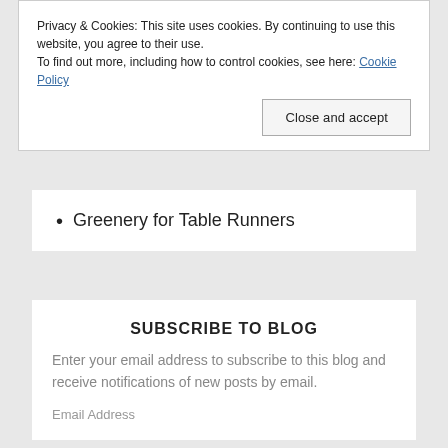Privacy & Cookies: This site uses cookies. By continuing to use this website, you agree to their use.
To find out more, including how to control cookies, see here: Cookie Policy
Close and accept
Greenery for Table Runners
SUBSCRIBE TO BLOG
Enter your email address to subscribe to this blog and receive notifications of new posts by email.
Email Address